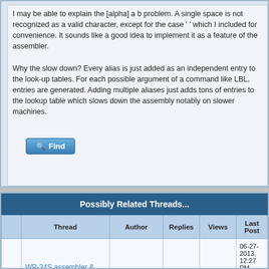I may be able to explain the [alpha] a b problem. A single space is not recognized as a valid character, except for the case ' ' which I included for convenience. It sounds like a good idea to implement it as a feature of the assembler.

Why the slow down? Every alias is just added as an independent entry to the look-up tables. For each possible argument of a command like LBL, entries are generated. Adding multiple aliases just adds tons of entries to the lookup table which slows down the assembly notably on slower machines.
[Figure (screenshot): Find button with magnifying glass icon]
Possibly Related Threads...
| Thread | Author | Replies | Views | Last Post |
| --- | --- | --- | --- | --- |
| WP-34S assembler & constants | Marcel Samek | 8 | 1,836 | 06-27-2013, 12:27 PM
Last Post: Marcel Samek |
| Patch for wp34s assembler | Marcel Samek | 0 | 666 | 06-26-2013, 05:35 PM
Last Post: Marcel Samek |